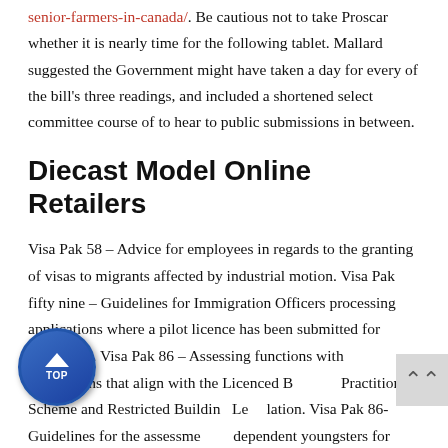senior-farmers-in-canada/. Be cautious not to take Proscar whether it is nearly time for the following tablet. Mallard suggested the Government might have taken a day for every of the bill's three readings, and included a shortened select committee course of to hear to public submissions in between.
Diecast Model Online Retailers
Visa Pak 58 – Advice for employees in regards to the granting of visas to migrants affected by industrial motion. Visa Pak fifty nine – Guidelines for Immigration Officers processing applications where a pilot licence has been submitted for evaluation. Visa Pak 86 – Assessing functions with occupations that align with the Licenced Building Practitioner Scheme and Restricted Building Legislation. Visa Pak 86- Guidelines for the assessment of dependent youngsters for residence including age and